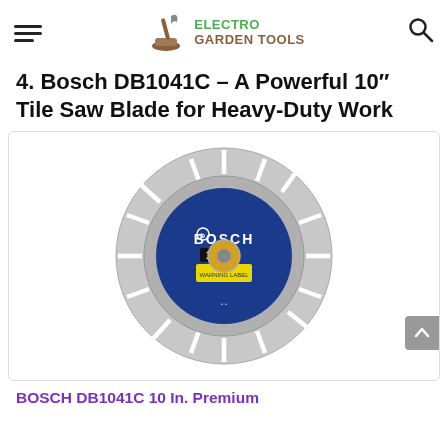ELECTRO GARDEN TOOLS
4. Bosch DB1041C – A Powerful 10″ Tile Saw Blade for Heavy-Duty Work
[Figure (photo): Bosch DB1041C 10-inch segmented diamond tile saw blade with blue center hub labeled BOSCH, yellow warning label, and silver segmented rim]
BOSCH DB1041C 10 In. Premium